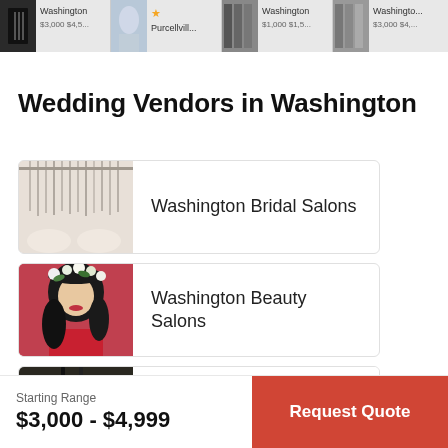[Figure (screenshot): Top scrolling strip showing wedding vendor thumbnails with locations (Washington, Purcellville, Washington) and price ranges ($3,000 $4,5..., $1,000 $1,5..., $3,000 $4,...)]
Wedding Vendors in Washington
[Figure (photo): Photo of wedding dresses hanging in a bridal salon]
Washington Bridal Salons
[Figure (photo): Photo of a woman with a floral crown in her hair and red dress]
Washington Beauty Salons
[Figure (photo): Partial photo showing food items]
Starting Range
$3,000 - $4,999
Request Quote